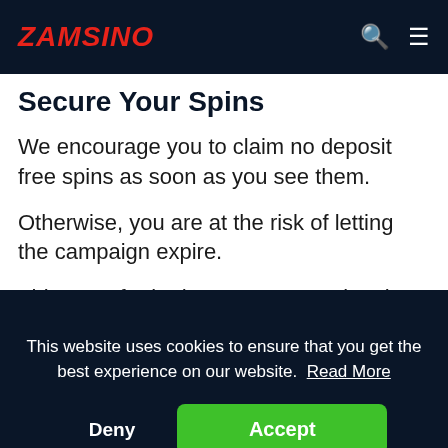ZAMSINO
Secure Your Spins
We encourage you to claim no deposit free spins as soon as you see them.
Otherwise, you are at the risk of letting the campaign expire.
This goes for both current promotional extra spins and…
[Figure (screenshot): Cookie consent banner overlay with dark navy background, text 'This website uses cookies to ensure that you get the best experience on our website. Read More', with 'Deny' and 'Accept' buttons]
Because of this, we do encourage you to